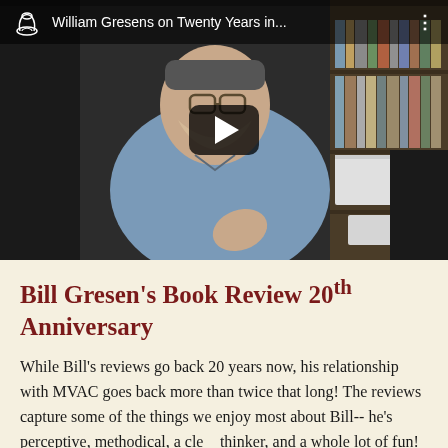[Figure (screenshot): YouTube video thumbnail showing a man wearing glasses and a face mask, dressed in a light blue button-up shirt, seated in front of a bookshelf. A play button is visible in the center. The video title bar at top reads 'William Gresens on Twenty Years in...' with a pottery logo on the left and a three-dot menu on the right.]
Bill Gresen's Book Review 20th Anniversary
While Bill's reviews go back 20 years now, his relationship with MVAC goes back more than twice that long! The reviews capture some of the things we enjoy most about Bill-- he's perceptive, methodical, a clear thinker, and a whole lot of fun! We look forward to our relationship--and Bill's reviews!--continuing for many